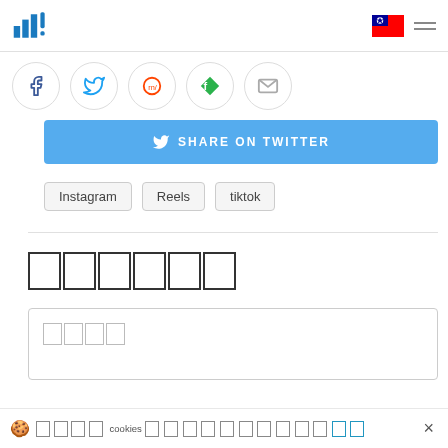Logo | Taiwan flag | hamburger menu
[Figure (screenshot): Social share icons row: Facebook, Twitter, Reddit, Feedly/green diamond, Email]
[Figure (screenshot): Share on Twitter button (blue)]
Instagram
Reels
tiktok
留言 (Comments - CJK characters shown as boxes)
留言輸入框placeholder (CJK characters shown as boxes)
🍪 我們使用 cookies 來改善您的體驗... 了解更多 ×